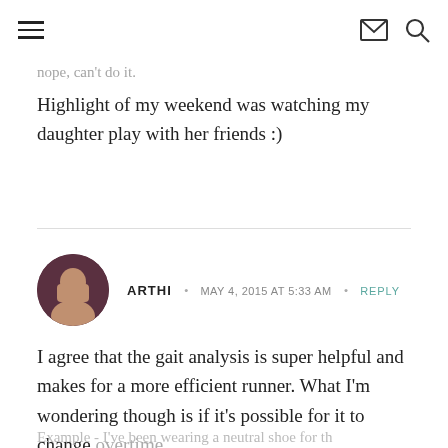[hamburger menu icon] [envelope icon] [search icon]
nope, can't do it.
Highlight of my weekend was watching my daughter play with her friends :)
ARTHI · MAY 4, 2015 AT 5:33 AM · REPLY
I agree that the gait analysis is super helpful and makes for a more efficient runner. What I'm wondering though is if it's possible for it to change overtime ...
Example - I've been wearing a neutral shoe for th